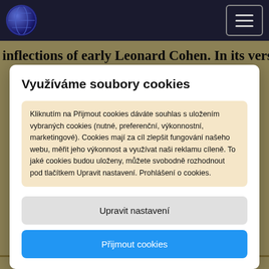inflections of early Leonard Cohen. In its verses, she
Využíváme soubory cookies
Kliknutím na Přijmout cookies dáváte souhlas s uložením vybraných cookies (nutné, preferenční, výkonnostní, marketingové). Cookies mají za cíl zlepšit fungování našeho webu, měřit jeho výkonnost a využívat naši reklamu cíleně. To jaké cookies budou uloženy, můžete svobodně rozhodnout pod tlačítkem Upravit nastavení. Prohlášení o cookies.
Upravit nastavení
Přijmout cookies